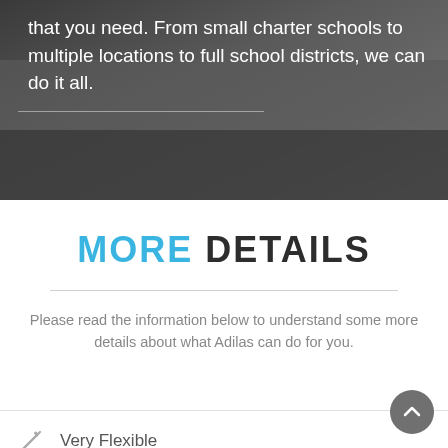that you need. From small charter schools to multiple locations to full school districts, we can do it all.
[Figure (photo): Dark background photo of a school building exterior at dusk or night]
MORE DETAILS
Please read the information below to understand some more details about what Adilas can do for you.
Very Flexible
Transparency
Finances